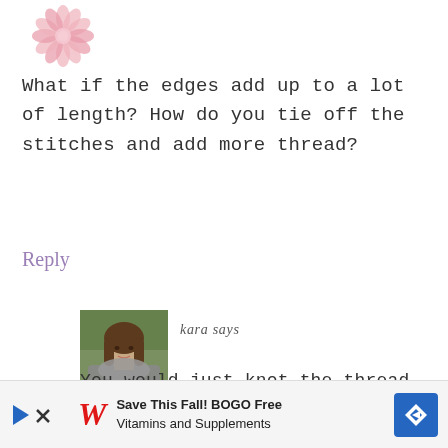[Figure (illustration): Pink floral decorative logo at top left]
What if the edges add up to a lot of length? How do you tie off the stitches and add more thread?
Reply
[Figure (photo): Profile photo of a young woman with long brown hair wearing a grey knitted cowl/wrap outdoors]
kara says
You would just knot the thread and start a new length 🙂
[Figure (other): Advertisement banner: Save This Fall! BOGO Free Vitamins and Supplements - Walgreens ad]